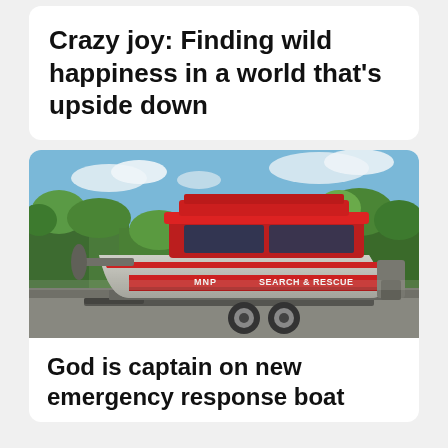Crazy joy: Finding wild happiness in a world that's upside down
[Figure (photo): A red and silver Search & Rescue boat on a trailer, parked in a lot with trees and blue sky in the background. Text on the hull reads 'SEARCH & RESCUE'.]
God is captain on new emergency response boat